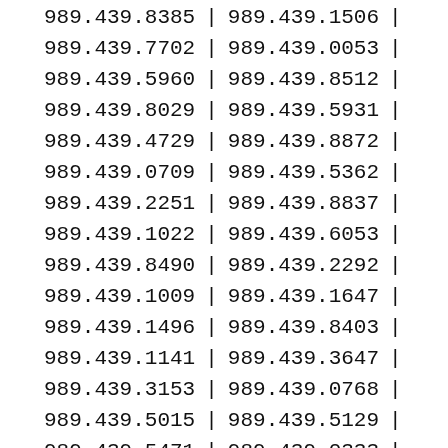| Col1 | Sep | Col2 | Sep2 |
| --- | --- | --- | --- |
| 989.439.8385 | | | 989.439.1506 | | |
| 989.439.7702 | | | 989.439.0053 | | |
| 989.439.5960 | | | 989.439.8512 | | |
| 989.439.8029 | | | 989.439.5931 | | |
| 989.439.4729 | | | 989.439.8872 | | |
| 989.439.0709 | | | 989.439.5362 | | |
| 989.439.2251 | | | 989.439.8837 | | |
| 989.439.1022 | | | 989.439.6053 | | |
| 989.439.8490 | | | 989.439.2292 | | |
| 989.439.1009 | | | 989.439.1647 | | |
| 989.439.1496 | | | 989.439.8403 | | |
| 989.439.1141 | | | 989.439.3647 | | |
| 989.439.3153 | | | 989.439.0768 | | |
| 989.439.5015 | | | 989.439.5129 | | |
| 989.439.5471 | | | 989.439.0333 | | |
| 989.439.6604 | | | 989.439.5805 | | |
| 989.439.6521 | | | 989.439.9818 | | |
| 989.439.0954 | | | 989.439.8585 | | |